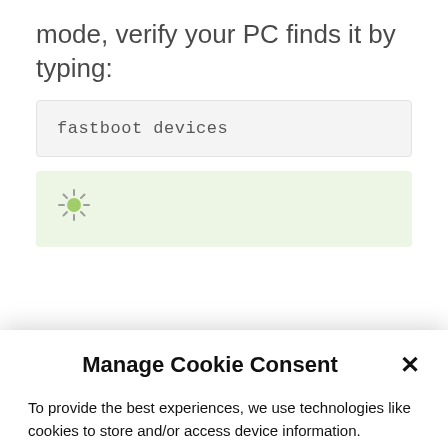mode, verify your PC finds it by typing:
fastboot devices
[Figure (screenshot): Green tip/hint box with a lightbulb icon]
Manage Cookie Consent
To provide the best experiences, we use technologies like cookies to store and/or access device information. Consenting to these technologies will allow us to process data such as browsing behavior or unique IDs on this site. Not consenting or withdrawing consent, may adversely affect certain features and functions.
Accept
Deny
Cookie Policy   Privacy Policy